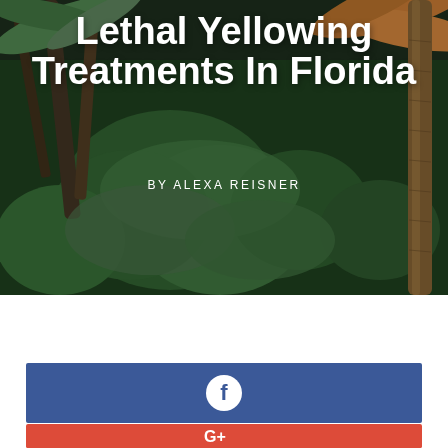[Figure (photo): Tropical jungle scene with palm trees, lush green foliage, and a tall brown palm trunk on the right side. The image serves as a hero/banner background.]
Lethal Yellowing Treatments In Florida
BY ALEXA REISNER
[Figure (infographic): Facebook share button — blue rectangle with a white Facebook 'f' logo icon centered on it]
[Figure (infographic): Google Plus share button — red/coral rectangle with a white 'G+' icon centered on it]